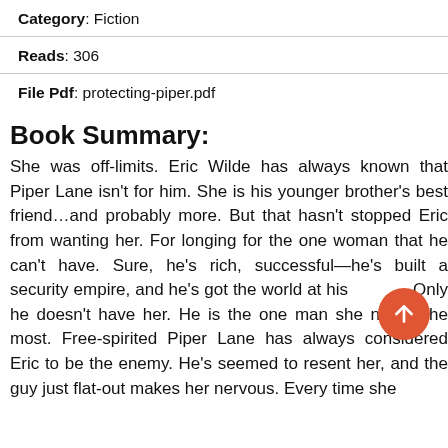Category : Fiction
Reads : 306
File Pdf: protecting-piper.pdf
Book Summary:
She was off-limits. Eric Wilde has always known that Piper Lane isn't for him. She is his younger brother's best friend…and probably more. But that hasn't stopped Eric from wanting her. For longing for the one woman that he can't have. Sure, he's rich, successful—he's built a security empire, and he's got the world at his [button]. Only he doesn't have her. He is the one man she needs the most. Free-spirited Piper Lane has always considered Eric to be the enemy. He's seemed to resent her, and the guy just flat-out makes her nervous. Every time she